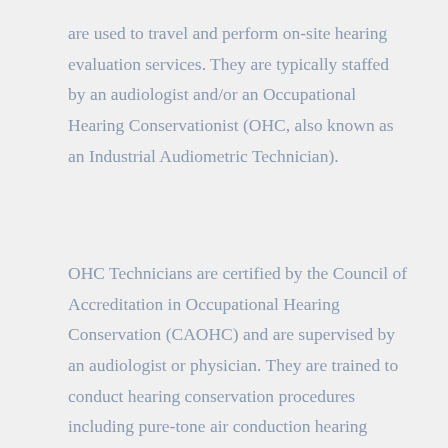are used to travel and perform on-site hearing evaluation services. They are typically staffed by an audiologist and/or an Occupational Hearing Conservationist (OHC, also known as an Industrial Audiometric Technician).
OHC Technicians are certified by the Council of Accreditation in Occupational Hearing Conservation (CAOHC) and are supervised by an audiologist or physician. They are trained to conduct hearing conservation procedures including pure-tone air conduction hearing testing. Their training is very specific to occupational